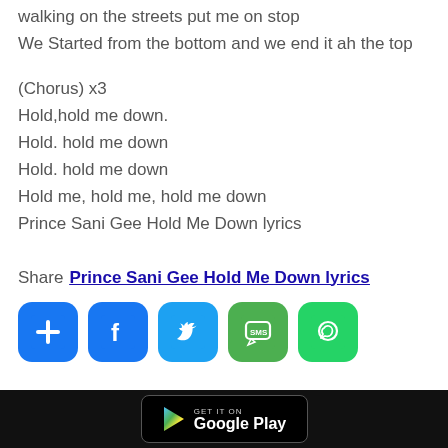walking on the streets put me on stop
We Started from the bottom and we end it ah the top
(Chorus) x3
Hold,hold me down.
Hold. hold me down
Hold. hold me down
Hold me, hold me, hold me down
Prince Sani Gee Hold Me Down lyrics
Share Prince Sani Gee Hold Me Down lyrics
[Figure (other): Social share icons: plus/add, Facebook, Twitter, SMS, WhatsApp]
GET IT ON Google Play